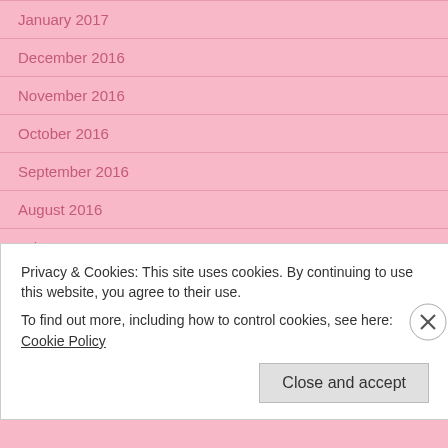January 2017
December 2016
November 2016
October 2016
September 2016
August 2016
July 2016
June 2016
May 2016
April 2016
March 2016
Privacy & Cookies: This site uses cookies. By continuing to use this website, you agree to their use.
To find out more, including how to control cookies, see here: Cookie Policy
Close and accept